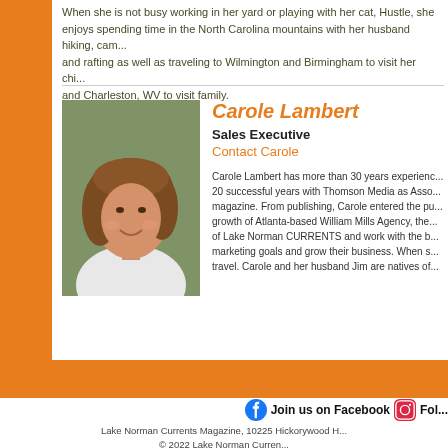When she is not busy working in her yard or playing with her cat, Hustle, she enjoys spending time in the North Carolina mountains with her husband hiking, camping, and rafting as well as traveling to Wilmington and Birmingham to visit her children, and Charleston, WV to visit family.
Carole Lambert
Sales Executive
Contact Carole
[Figure (photo): Headshot of Carole Lambert, a woman with medium-length auburn hair wearing a white top, photographed outdoors.]
Carole Lambert has more than 30 years experience... 20 successful years with Thomson Media as Associate Publisher of magazine. From publishing, Carole entered the public relations growth of Atlanta-based William Mills Agency, the... of Lake Norman CURRENTS and work with the b... marketing goals and grow their business. When s... travel. Carole and her husband Jim are natives of...
Join us on Facebook  Fol...
Lake Norman Currents Magazine, 10225 Hickorywood H... © 2022 Lake Norman Curren...